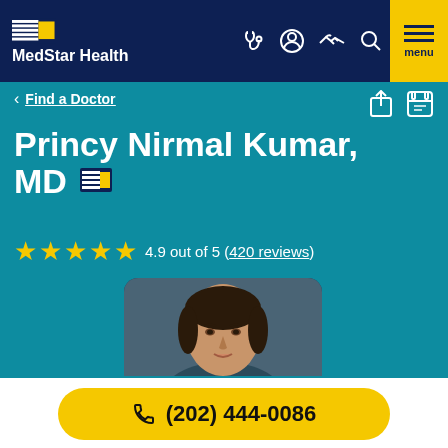MedStar Health
< Find a Doctor
Princy Nirmal Kumar, MD
4.9 out of 5 (420 reviews)
[Figure (photo): Headshot photo of Dr. Princy Nirmal Kumar, a woman with dark hair against a grey/blue background]
(202) 444-0086